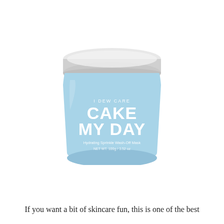[Figure (photo): A light blue cylindrical skincare jar with a white lid. The jar is labeled 'I DEW CARE' at the top, with large bold white text reading 'CAKE MY DAY', and smaller text below reading 'Hydrating Sprinkle Wash-Off Mask NET WT. 100g / 3.52 oz'.]
If you want a bit of skincare fun, this is one of the best